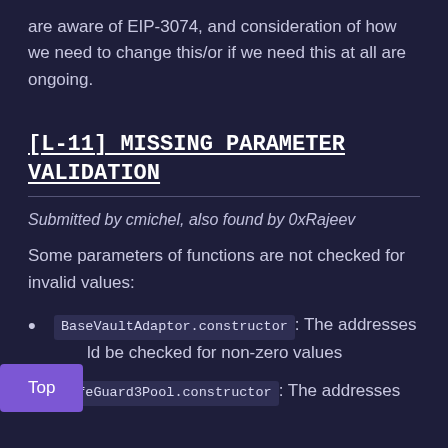are aware of EIP-3074, and consideration of how we need to change this/or if we need this at all are ongoing.
[L-11] MISSING PARAMETER VALIDATION
Submitted by cmichel, also found by 0xRajeev
Some parameters of functions are not checked for invalid values:
BaseVaultAdaptor.constructor: The addresses should be checked for non-zero values
LifeGuard3Pool.constructor: The addresses